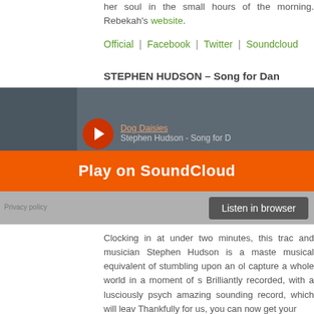her soul in the small hours of the morning. Rebekah's website.
Official | Facebook | Twitter | Soundcloud
STEPHEN HUDSON – Song for Dan
[Figure (screenshot): SoundCloud embedded player showing 'Dog Daisies' playlist, Stephen Hudson - Song for Dan track, with orange Play on SoundCloud overlay button and Listen in browser button. Privacy policy link visible.]
Clocking in at under two minutes, this trac and musician Stephen Hudson is a maste musical equivalent of stumbling upon an ol capture a whole world in a moment of s Brilliantly recorded, with a lusciously psych amazing sounding record, which will leav Thankfully for us, you can now get your